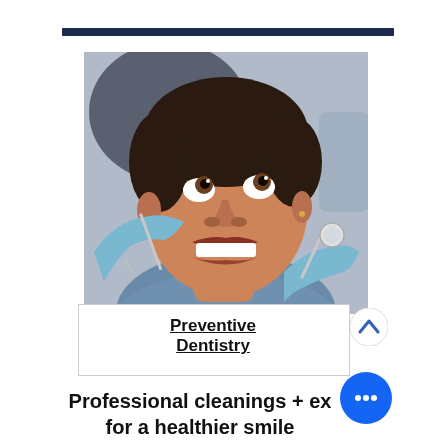[Figure (photo): A young man sitting in a dental chair smiling, with a dentist in blue gloves holding dental instruments near his mouth]
Preventive Dentistry
Professional cleanings + ex... for a healthier smile